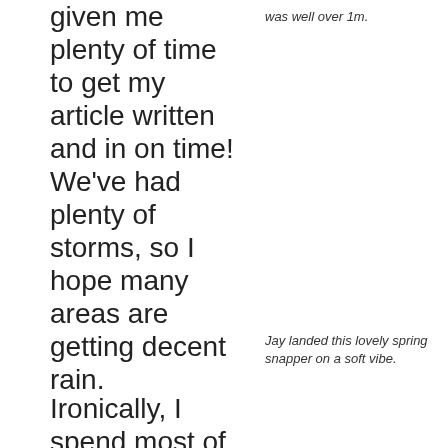given me plenty of time to get my article written and in on time! We've had plenty of storms, so I hope many areas are getting decent rain.
was well over 1m.
Jay landed this lovely spring snapper on a soft vibe.
Ironically, I spend most of my year hating rain because my house turns